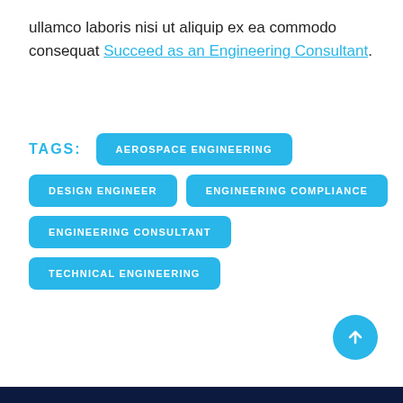ullamco laboris nisi ut aliquip ex ea commodo consequat Succeed as an Engineering Consultant.
TAGS: AEROSPACE ENGINEERING DESIGN ENGINEER ENGINEERING COMPLIANCE ENGINEERING CONSULTANT TECHNICAL ENGINEERING
[Figure (other): Scroll-to-top button, cyan circle with upward arrow]